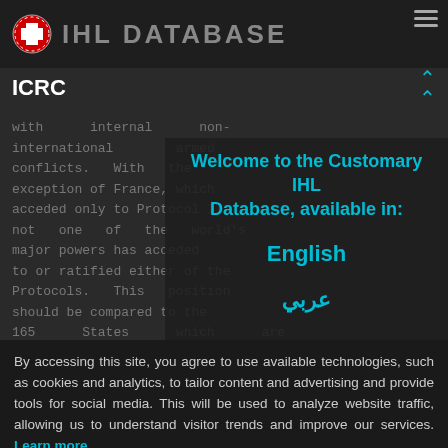IHL DATABASE
ICRC
with internal non-international armed conflicts. With the exception of France, which acceded only to Protocol II, not one of the world's major powers has acceded to or ratified either of the Protocols. This position should be compared to the 165 States which are
Welcome to the Customary IHL Database, available in:
English
عربي
By accessing this site, you agree to use available technologies, such as cookies and analytics, to tailor content and advertising and provide tools for social media. This will be used to analyze website traffic, allowing us to understand visitor trends and improve our services. Learn more
I ACCEPT